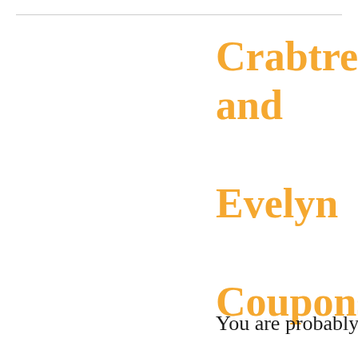Crabtree and Evelyn Coupons: Buy 2, Get 2 Free
You are probably